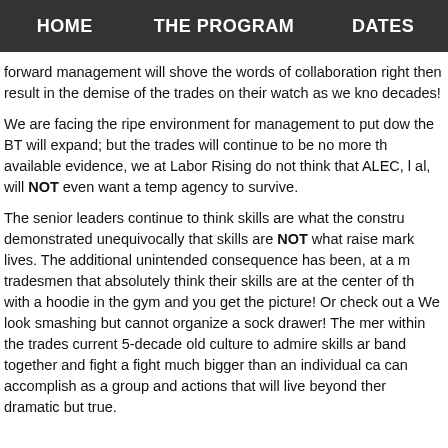HOME    THE PROGRAM    DATES
forward management will shove the words of collaboration right then result in the demise of the trades on their watch as we kno decades!
We are facing the ripe environment for management to put dow the BT will expand; but the trades will continue to be no more th available evidence, we at Labor Rising do not think that ALEC, l al, will NOT even want a temp agency to survive.
The senior leaders continue to think skills are what the constru demonstrated unequivocally that skills are NOT what raise mark lives. The additional unintended consequence has been, at a m tradesmen that absolutely think their skills are at the center of th with a hoodie in the gym and you get the picture! Or check out a We look smashing but cannot organize a sock drawer! The mer within the trades current 5-decade old culture to admire skills ar band together and fight a fight much bigger than an individual ca can accomplish as a group and actions that will live beyond ther dramatic but true.